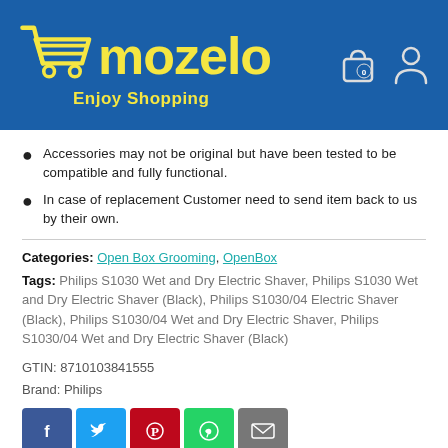mozelo — Enjoy Shopping
Accessories may not be original but have been tested to be compatible and fully functional.
In case of replacement Customer need to send item back to us by their own.
Categories: Open Box Grooming, OpenBox
Tags: Philips S1030 Wet and Dry Electric Shaver, Philips S1030 Wet and Dry Electric Shaver (Black), Philips S1030/04 Electric Shaver (Black), Philips S1030/04 Wet and Dry Electric Shaver, Philips S1030/04 Wet and Dry Electric Shaver (Black)
GTIN: 8710103841555
Brand: Philips